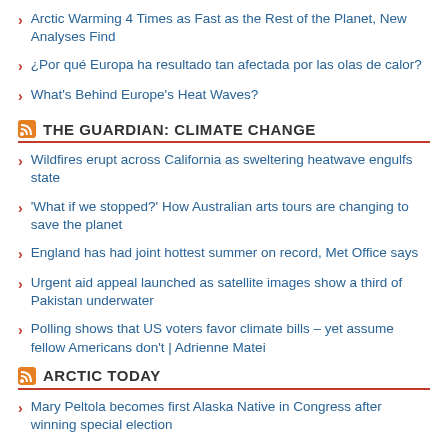Arctic Warming 4 Times as Fast as the Rest of the Planet, New Analyses Find
¿Por qué Europa ha resultado tan afectada por las olas de calor?
What's Behind Europe's Heat Waves?
THE GUARDIAN: CLIMATE CHANGE
Wildfires erupt across California as sweltering heatwave engulfs state
'What if we stopped?' How Australian arts tours are changing to save the planet
England has had joint hottest summer on record, Met Office says
Urgent aid appeal launched as satellite images show a third of Pakistan underwater
Polling shows that US voters favor climate bills – yet assume fellow Americans don't | Adrienne Matei
ARCTIC TODAY
Mary Peltola becomes first Alaska Native in Congress after winning special election
Solar power project proposed for Nunavut's Coral Harbor